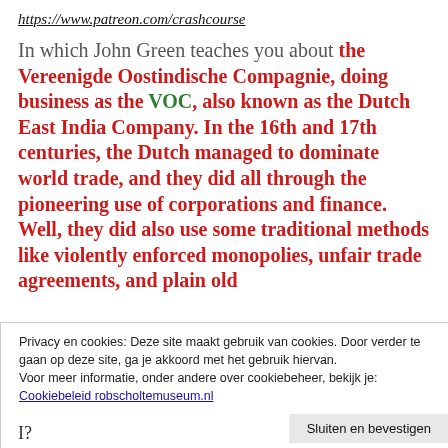https://www.patreon.com/crashcourse
In which John Green teaches you about the Vereenigde Oostindische Compagnie, doing business as the VOC, also known as the Dutch East India Company. In the 16th and 17th centuries, the Dutch managed to dominate world trade, and they did all through the pioneering use of corporations and finance. Well, they did also use some traditional methods like violently enforced monopolies, unfair trade agreements, and plain old
Privacy en cookies: Deze site maakt gebruik van cookies. Door verder te gaan op deze site, ga je akkoord met het gebruik hiervan.
Voor meer informatie, onder andere over cookiebeheer, bekijk je:
Cookiebeleid robscholtemuseum.nl
Sluiten en bevestigen
I?